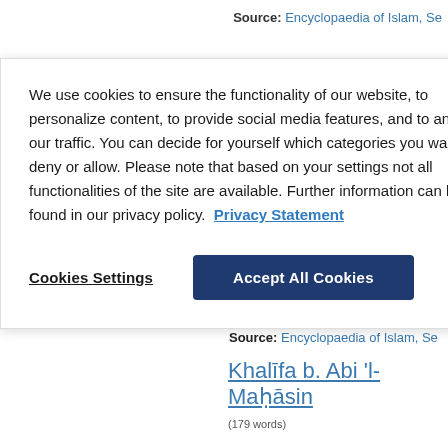Source: Encyclopaedia of Islam, Se
We use cookies to ensure the functionality of our website, to personalize content, to provide social media features, and to analyze our traffic. You can decide for yourself which categories you want to deny or allow. Please note that based on your settings not all functionalities of the site are available. Further information can be found in our privacy policy. Privacy Statement
Cookies Settings
Accept All Cookies
expert in poetry and lexicography; education, which was later continu al-Shaybānī, al-Farrāʾ, Ibn al-Aʿrābī a
Source: Encyclopaedia of Islam, Se
Khalīfa b. Abi 'l-Maḥāsin
(179 words)